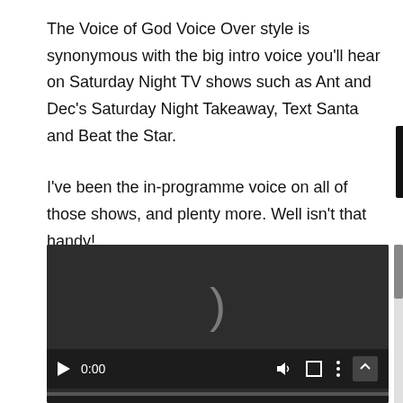The Voice of God Voice Over style is synonymous with the big intro voice you'll hear on Saturday Night TV shows such as Ant and Dec's Saturday Night Takeaway, Text Santa and Beat the Star.
I've been the in-programme voice on all of those shows, and plenty more. Well isn't that handy!
[Figure (screenshot): A dark video player with a play button, 0:00 timestamp, volume icon, fullscreen icon, and a menu icon. A progress bar appears at the bottom. The video area is dark grey with a closing parenthesis symbol visible in the center.]